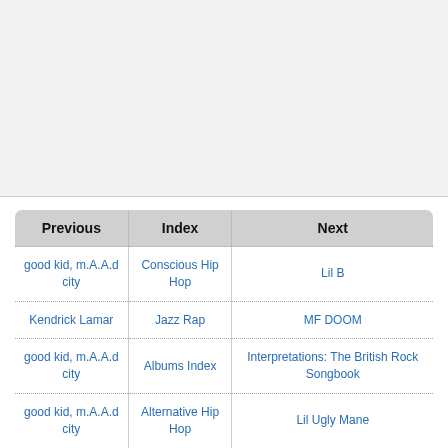[Figure (other): Gray blank upper area of the page]
| Previous | Index | Next |
| --- | --- | --- |
| good kid, m.A.A.d city | Conscious Hip Hop | Lil B |
| Kendrick Lamar | Jazz Rap | MF DOOM |
| good kid, m.A.A.d city | Albums Index | Interpretations: The British Rock Songbook |
| good kid, m.A.A.d city | Alternative Hip Hop | Lil Ugly Mane |